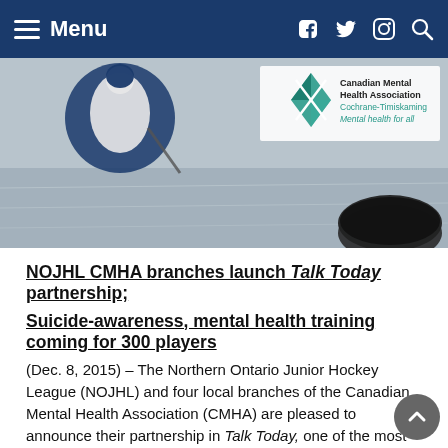Menu
[Figure (photo): Banner image with hockey player on ice, CMHA Cochrane-Timiskaming logo, and a hockey puck in the foreground]
NOJHL CMHA branches launch Talk Today partnership; Suicide-awareness, mental health training coming for 300 players
(Dec. 8, 2015) – The Northern Ontario Junior Hockey League (NOJHL) and four local branches of the Canadian Mental Health Association (CMHA) are pleased to announce their partnership in Talk Today, one of the most comprehensive mental health education programs for amateur sports in Canada. Talk Today, is aimed at helping the 300 players in the NOJHL as well as the individuals that support them, to iden